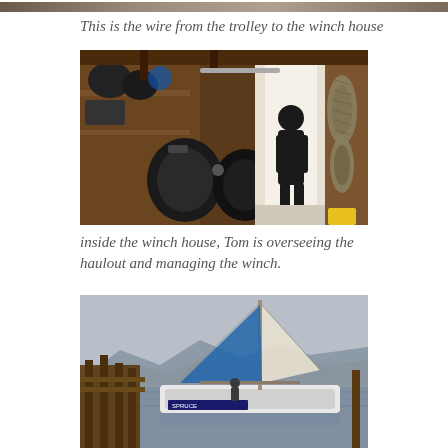[Figure (photo): Top strip: partial photo of a wire/rope, cropped at top of page]
This is the wire from the trolley to the winch house
[Figure (photo): Interior of a wooden winch house: shelving with equipment on the left, large dark winch machinery in the center, a person standing silhouetted in a bright open doorway, coiled ropes hanging on the right wall]
inside the winch house, Tom is overseeing the haulout and managing the winch.
[Figure (photo): Sailboat docked at a wooden pier with grey water and mountainous landscape in the background under an overcast sky]